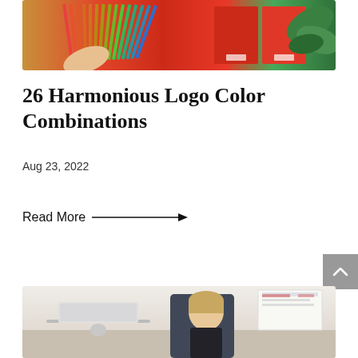[Figure (photo): Person holding Pantone color swatch fan deck with colorful swatches and green plant in background]
26 Harmonious Logo Color Combinations
Aug 23, 2022
Read More →
[Figure (photo): Young woman working at a laptop computer at a desk]